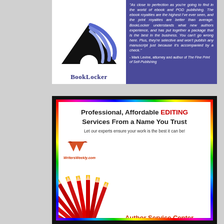[Figure (illustration): BookLocker advertisement with logo on white background left side and review quote on purple/blue background right side. Logo shows stylized sail/book shape with 'BookLocker' text. Quote by Mark Levine, attorney and author of The Fine Print of Self-Publishing.]
[Figure (illustration): WritersWeekly.com Author Service Center advertisement for professional affordable editing services. Features red pencils fanned out, WritersWeekly.com logo, headline 'Professional, Affordable EDITING Services From a Name You Trust', subline 'Let our experts ensure your work is the best it can be!', and URL Marketplace.WritersWeekly.com/editors. Rainbow/multicolor border on black background.]